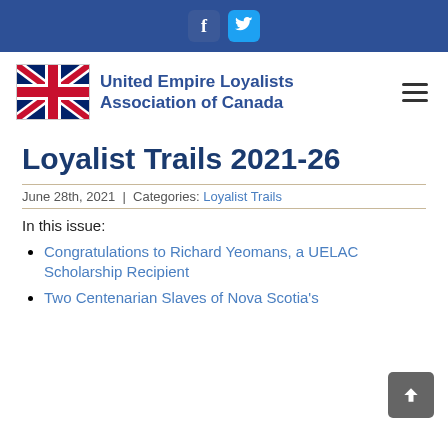Social media links: Facebook, Twitter
[Figure (logo): United Empire Loyalists Association of Canada logo with Union Jack flag and organization name in blue]
Loyalist Trails 2021-26
June 28th, 2021 | Categories: Loyalist Trails
In this issue:
Congratulations to Richard Yeomans, a UELAC Scholarship Recipient
Two Centenarian Slaves of Nova Scotia's